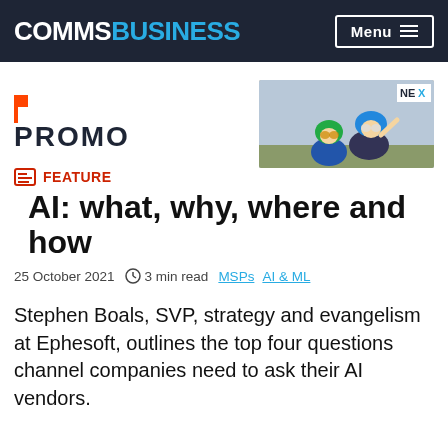COMMSBUSINESS — Menu
[Figure (logo): PROMO logo with orange flag graphic on left, advertisement image of two children in helmets with NEX branding on right]
FEATURE
AI: what, why, where and how
25 October 2021  ⊙ 3 min read  MSPs  AI & ML
Stephen Boals, SVP, strategy and evangelism at Ephesoft, outlines the top four questions channel companies need to ask their AI vendors.